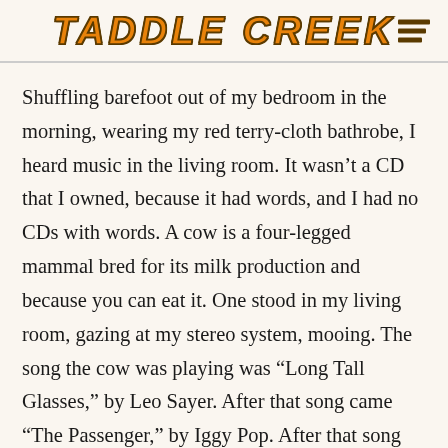TADDLE CREEK
Shuffling barefoot out of my bedroom in the morning, wearing my red terry-cloth bathrobe, I heard music in the living room. It wasn't a CD that I owned, because it had words, and I had no CDs with words. A cow is a four-legged mammal bred for its milk production and because you can eat it. One stood in my living room, gazing at my stereo system, mooing. The song the cow was playing was “Long Tall Glasses,” by Leo Sayer. After that song came “The Passenger,” by Iggy Pop. After that song came “Stumblin’ In,” by Suzi